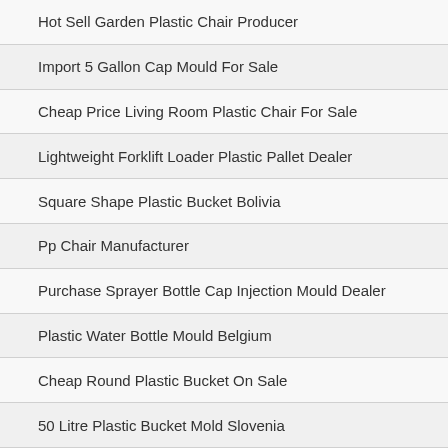Hot Sell Garden Plastic Chair Producer
Import 5 Gallon Cap Mould For Sale
Cheap Price Living Room Plastic Chair For Sale
Lightweight Forklift Loader Plastic Pallet Dealer
Square Shape Plastic Bucket Bolivia
Pp Chair Manufacturer
Purchase Sprayer Bottle Cap Injection Mould Dealer
Plastic Water Bottle Mould Belgium
Cheap Round Plastic Bucket On Sale
50 Litre Plastic Bucket Mold Slovenia